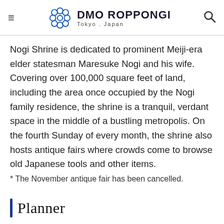DMO ROPPONGI Tokyo . Japan
Nogi Shrine is dedicated to prominent Meiji-era elder statesman Maresuke Nogi and his wife. Covering over 100,000 square feet of land, including the area once occupied by the Nogi family residence, the shrine is a tranquil, verdant space in the middle of a bustling metropolis. On the fourth Sunday of every month, the shrine also hosts antique fairs where crowds come to browse old Japanese tools and other items.
* The November antique fair has been cancelled.
Planner
Prayers
Japanese people pray to gods for a variety of reasons, often